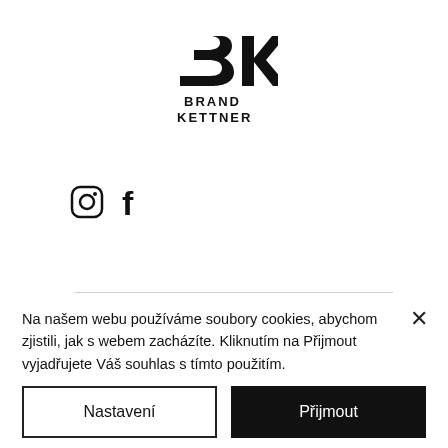[Figure (logo): Brand Kettner logo — stylized 3K lettermark above text BRAND KETTNER]
[Figure (illustration): Instagram and Facebook social media icons]
Na našem webu používáme soubory cookies, abychom zjistili, jak s webem zacházíte. Kliknutím na Přijmout vyjadřujete Váš souhlas s tímto použitím.
Nastavení
Přijmout